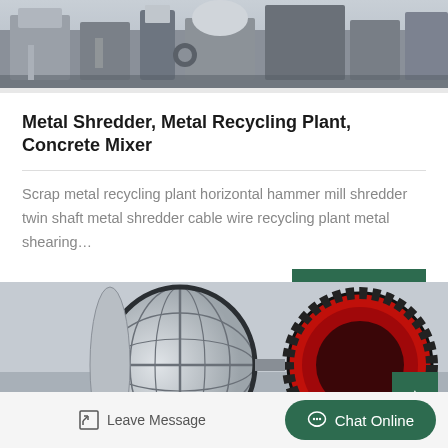[Figure (photo): Industrial factory floor with machinery equipment including metal processing machines]
Metal Shredder, Metal Recycling Plant, Concrete Mixer
Scrap metal recycling plant horizontal hammer mill shredder twin shaft metal shredder cable wire recycling plant metal shearing…
Jan_3
[Figure (photo): Large industrial rotating drum/ball mill machine with circular cage structure and gear ring, in a factory setting]
Leave Message
Chat Online